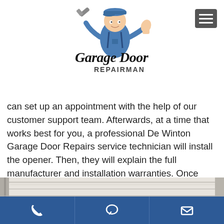[Figure (logo): Garage Door Repairman logo with cartoon mechanic holding wrench and thumbs up, wearing blue cap and overalls. Text reads 'Garage Door REPAIRMAN' in stylized font.]
can set up an appointment with the help of our customer support team. Afterwards, at a time that works best for you, a professional De Winton Garage Door Repairs service technician will install the opener. Then, they will explain the full manufacturer and installation warranties. Once you're completely satisfied, we'll accept payment
[Figure (photo): Partial photograph of a white garage door panel with horizontal rails visible at bottom of image.]
Phone | Chat | Email navigation bar